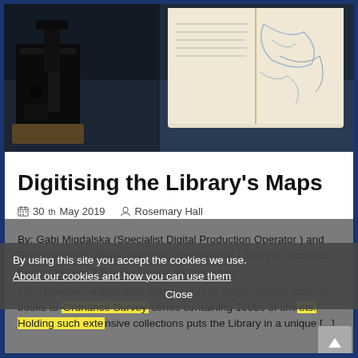[Figure (photo): Close-up photo of maps and documents on a scanning/imaging device, with an open book showing a map in the background. Dark equipment in foreground.]
Digitising the Library's Maps
30th May 2019   Rosemary Hall
By using this site you accept the cookies we use.
About our cookies and how you can use them
Close
By: Gabi Migdalska (Specialist Digital Production Operator ) and Rosemary Hall (Maps Assistant) The National Library of Scotland holds well over 1.5 million maps and counting. The collection ranges from manuscripts to single fold-out maps in books to Ordnance Survey series containing 1000s of sheets. Holding such extensive collections puts the Library in a unique [...]